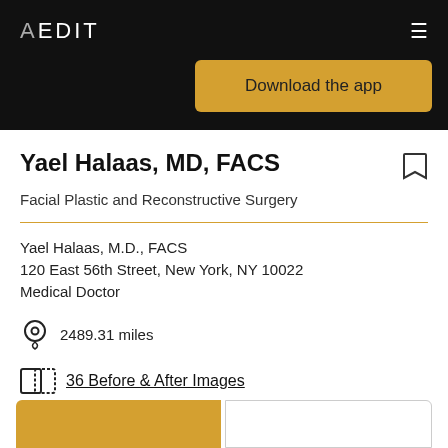AEDIT
[Figure (screenshot): Download the app button in gold/amber color]
Yael Halaas, MD, FACS
Facial Plastic and Reconstructive Surgery
Yael Halaas, M.D., FACS
120 East 56th Street, New York, NY 10022
Medical Doctor
2489.31 miles
36 Before & After Images